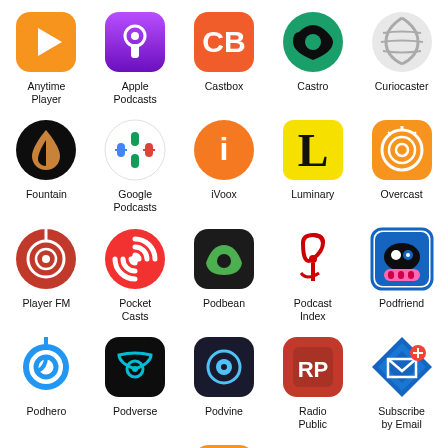[Figure (infographic): Grid of podcast app icons with names: Anytime Player, Apple Podcasts, Castbox, Castro, Curiocaster, Fountain, Google Podcasts, iVoox, Luminary, Overcast, Player FM, Pocket Casts, Podbean, Podcast Index, Podfriend, Podhero, Podverse, Podvine, Radio Public, Subscribe by Email, RSS feed]